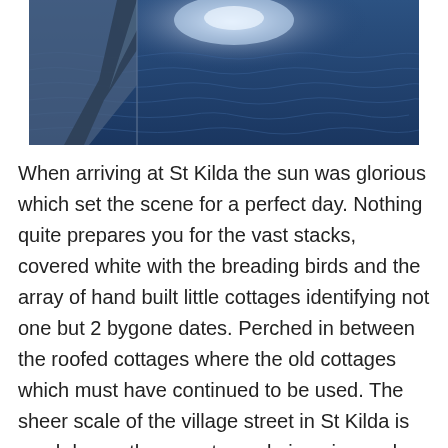[Figure (photo): A photo taken from the deck of a boat looking out over a dark blue choppy sea, with a sail or boat canopy visible in the upper left and bright sunlight glinting off the water in the distance.]
When arriving at St Kilda the sun was glorious which set the scene for a perfect day. Nothing quite prepares you for the vast stacks, covered white with the breading birds and the array of hand built little cottages identifying not one but 2 bygone dates. Perched in between the roofed cottages where the old cottages which must have continued to be used. The sheer scale of the village street in St Kilda is much larger than most people imagine and really sets the tone of how life was back in the day when it was populated. Man's determination to carve out a life is in my opinion most demonstrated when you visit such a place as the use of tools and resources would have been very much restricted yet St Kilda is